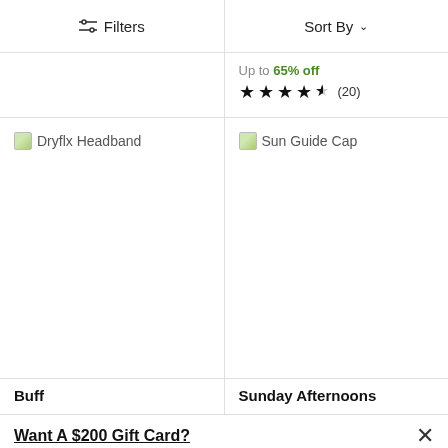Filters | Sort By
Up to 65% off
★★★★½ (20)
[Figure (photo): Broken image placeholder for Dryflx Headband product]
[Figure (photo): Broken image placeholder for Sun Guide Cap product]
Buff
Sunday Afternoons
Want A $200 Gift Card?